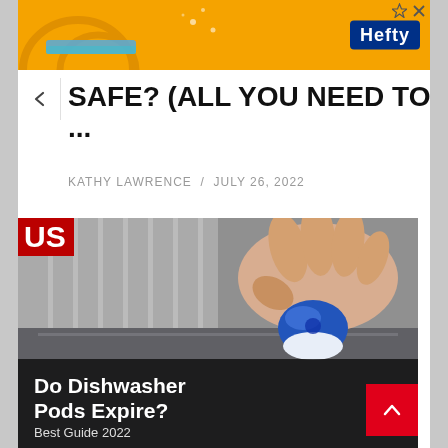[Figure (photo): Hefty brand advertisement banner with orange background and Hefty logo in blue.]
SAFE? (ALL YOU NEED TO ...
KATHY LAWRENCE / JULY 26, 2022
[Figure (photo): A hand holding a blue and white dishwasher detergent pod over a dishwasher rack. Overlay text reads 'Do Dishwasher Pods Expire?' with partial subtitle below.]